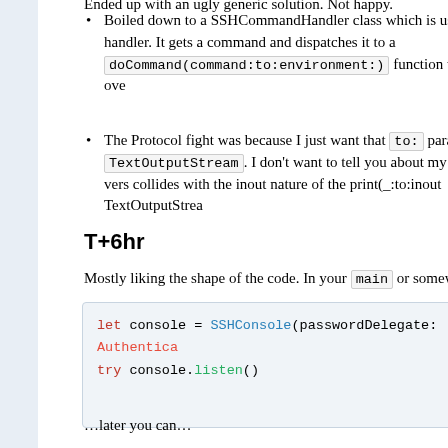Boiled down to a SSHCommandHandler class which is used as a handler. It gets a command and dispatches it to a doCommand(command:to:environment:) function which you ove
The Protocol fight was because I just want that to: parameter to TextOutputStream. I don't want to tell you about my specific vers collides with the inout nature of the print(_:to:inout TextOutputStrea
T+6hr
Mostly liking the shape of the code. In your main or somewhere likely yo
[Figure (screenshot): Code block: let console = SSHConsole(passwordDelegate: Authentica try console.listen()]
…later you can…
[Figure (screenshot): Code block: try? console.stop().wait()`]
T+10hr
And just like that I hit a wall. Swift Argument Parser does not have a mech you to pass in state as you dispatch the command. There is a run() with arguments and that's it. I spent 4 hours exploring the vast array of things